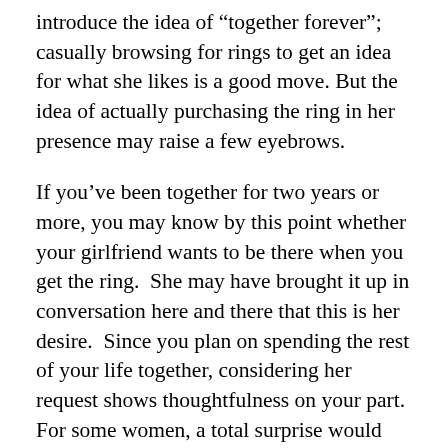introduce the idea of “together forever”; casually browsing for rings to get an idea for what she likes is a good move. But the idea of actually purchasing the ring in her presence may raise a few eyebrows.
If you’ve been together for two years or more, you may know by this point whether your girlfriend wants to be there when you get the ring.  She may have brought it up in conversation here and there that this is her desire.  Since you plan on spending the rest of your life together, considering her request shows thoughtfulness on your part.  For some women, a total surprise would encourage their heart, but not every woman is the same.  Has she made it a point that she wants to be there when you get the ring?  Just because you buy the ring